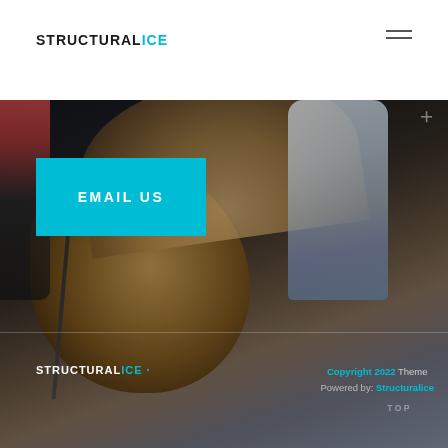STRUCTURAL ICE
[Figure (photo): Dark hero image showing ice climbing or frozen rock formation with layered brown/tan rock and grey ice formations, with partial view of person and equipment on the left side]
EMAIL US
STRUCTURAL ICE · Copyright 2022 Theme Powered by: Structuralice TOP